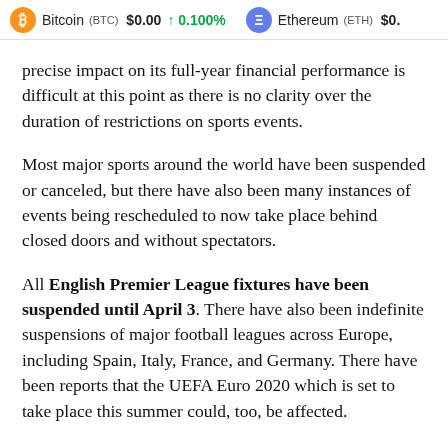Bitcoin (BTC) $0.00 ↑ 0.100% Ethereum (ETH) $0.
precise impact on its full-year financial performance is difficult at this point as there is no clarity over the duration of restrictions on sports events.
Most major sports around the world have been suspended or canceled, but there have also been many instances of events being rescheduled to now take place behind closed doors and without spectators.
All English Premier League fixtures have been suspended until April 3. There have also been indefinite suspensions of major football leagues across Europe, including Spain, Italy, France, and Germany. There have been reports that the UEFA Euro 2020 which is set to take place this summer could, too, be affected.